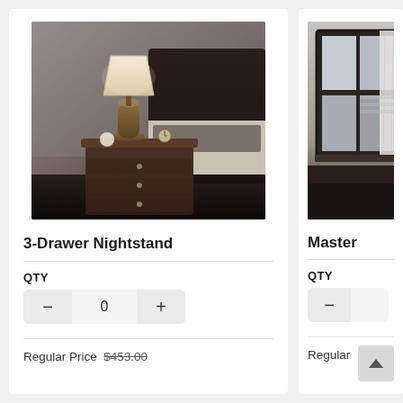[Figure (photo): A dark wood 3-drawer nightstand with a brown table lamp and clock on top, next to a dark headboard bed with white bedding]
3-Drawer Nightstand
QTY
- 0 +
Regular Price $453.00
[Figure (photo): Partial view of a bedroom with a dark window frame and light curtains, partially cropped]
Master
QTY
-
Regular